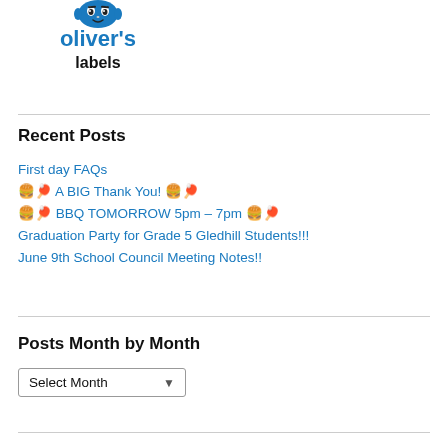[Figure (logo): Oliver's Labels logo with cartoon face icon, blue 'oliver's' text and black 'labels' text]
Recent Posts
First day FAQs
🍔🏓 A BIG Thank You! 🍔🏓
🍔🏓 BBQ TOMORROW 5pm – 7pm 🍔🏓
Graduation Party for Grade 5 Gledhill Students!!!
June 9th School Council Meeting Notes!!
Posts Month by Month
Select Month (dropdown)